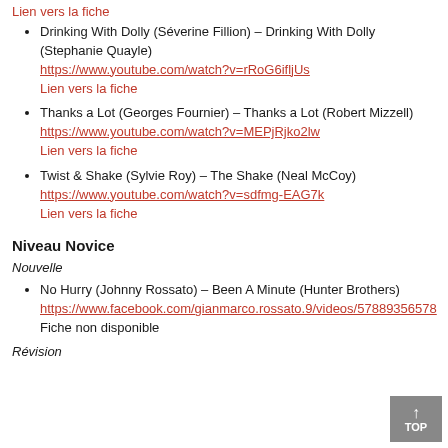Lien vers la fiche
Drinking With Dolly (Séverine Fillion) – Drinking With Dolly (Stephanie Quayle)
https://www.youtube.com/watch?v=rRoG6ifljUs
Lien vers la fiche
Thanks a Lot (Georges Fournier) – Thanks a Lot (Robert Mizzell)
https://www.youtube.com/watch?v=MEPjRjko2lw
Lien vers la fiche
Twist & Shake (Sylvie Roy) – The Shake (Neal McCoy)
https://www.youtube.com/watch?v=sdfmg-EAG7k
Lien vers la fiche
Niveau Novice
Nouvelle
No Hurry (Johnny Rossato) – Been A Minute (Hunter Brothers)
https://www.facebook.com/gianmarco.rossato.9/videos/57889356578
Fiche non disponible
Révision